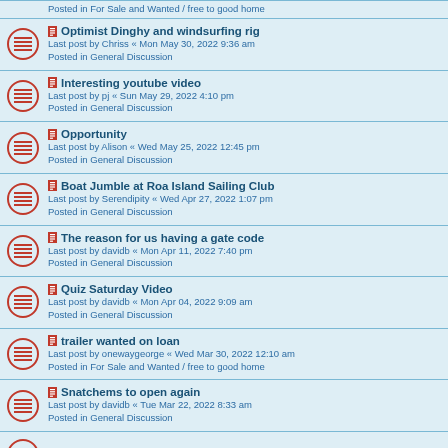Optimist Dinghy and windsurfing rig
Last post by Chriss « Mon May 30, 2022 9:36 am
Posted in General Discussion
Interesting youtube video
Last post by pj « Sun May 29, 2022 4:10 pm
Posted in General Discussion
Opportunity
Last post by Alison « Wed May 25, 2022 12:45 pm
Posted in General Discussion
Boat Jumble at Roa Island Sailing Club
Last post by Serendipity « Wed Apr 27, 2022 1:07 pm
Posted in General Discussion
The reason for us having a gate code
Last post by davidb « Mon Apr 11, 2022 7:40 pm
Posted in General Discussion
Quiz Saturday Video
Last post by davidb « Mon Apr 04, 2022 9:09 am
Posted in General Discussion
trailer wanted on loan
Last post by onewaygeorge « Wed Mar 30, 2022 12:10 am
Posted in For Sale and Wanted / free to good home
Snatchems to open again
Last post by davidb « Tue Mar 22, 2022 8:33 am
Posted in General Discussion
Picnic on the Sands